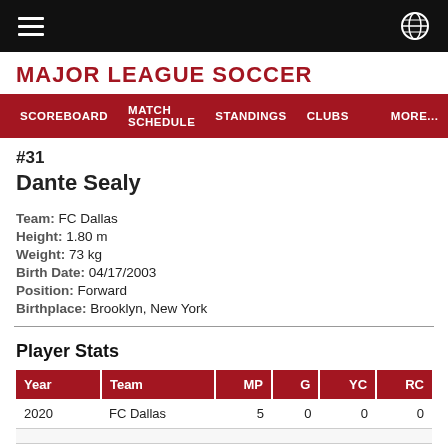MAJOR LEAGUE SOCCER
SCOREBOARD  MATCH SCHEDULE  STANDINGS  CLUBS  MORE...
#31
Dante Sealy
Team: FC Dallas
Height: 1.80 m
Weight: 73 kg
Birth Date: 04/17/2003
Position: Forward
Birthplace: Brooklyn, New York
Player Stats
| Year | Team | MP | G | YC | RC |
| --- | --- | --- | --- | --- | --- |
| 2020 | FC Dallas | 5 | 0 | 0 | 0 |